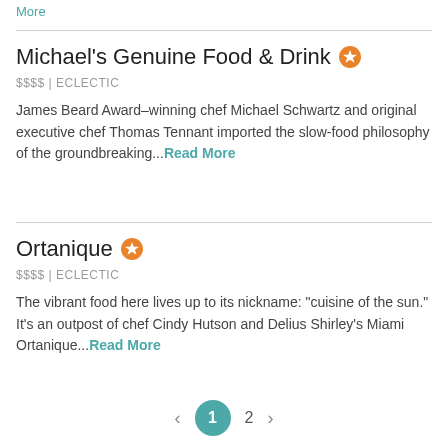More
Michael's Genuine Food & Drink
$$$$ | ECLECTIC
James Beard Award–winning chef Michael Schwartz and original executive chef Thomas Tennant imported the slow-food philosophy of the groundbreaking...Read More
Ortanique
$$$$ | ECLECTIC
The vibrant food here lives up to its nickname: "cuisine of the sun." It's an outpost of chef Cindy Hutson and Delius Shirley's Miami Ortanique...Read More
‹ 1 2 ›